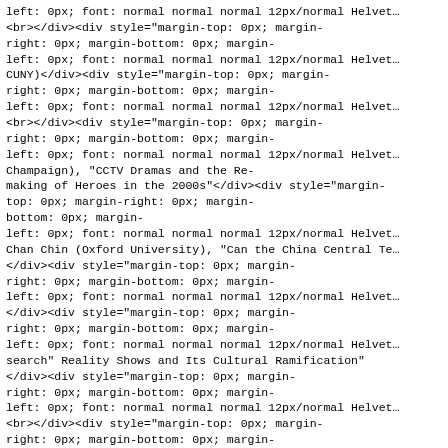left: 0px; font: normal normal normal 12px/normal Helvet...
<br></div><div style="margin-top: 0px; margin-right: 0px; margin-bottom: 0px; margin-left: 0px; font: normal normal normal 12px/normal Helvet...
CUNY)</div><div style="margin-top: 0px; margin-right: 0px; margin-bottom: 0px; margin-left: 0px; font: normal normal normal 12px/normal Helvet...
<br></div><div style="margin-top: 0px; margin-right: 0px; margin-bottom: 0px; margin-left: 0px; font: normal normal normal 12px/normal Helvet...
Champaign), "CCTV Dramas and the Re-making of Heroes in the 2000s"</div><div style="margin-top: 0px; margin-right: 0px; margin-bottom: 0px; margin-left: 0px; font: normal normal normal 12px/normal Helvet...
Chan Chin (Oxford University), "Can the China Central Te...
</div><div style="margin-top: 0px; margin-right: 0px; margin-bottom: 0px; margin-left: 0px; font: normal normal normal 12px/normal Helvet...
</div><div style="margin-top: 0px; margin-right: 0px; margin-bottom: 0px; margin-left: 0px; font: normal normal normal 12px/normal Helvet...
search" Reality Shows and Its Cultural Ramification"
</div><div style="margin-top: 0px; margin-right: 0px; margin-bottom: 0px; margin-left: 0px; font: normal normal normal 12px/normal Helvet...
<br></div><div style="margin-top: 0px; margin-right: 0px; margin-bottom: 0px; margin-left: 0px; font: normal normal normal 12px/normal Helvet...
<br></div><div style="margin-top: 0px; margin-right: 0px; margin-bottom: 0px; margin-left: 0px; font: normal normal normal 12px/normal Helvet...
<br></div><div style="margin-top: 0px; margin-right: 0px; margin-bottom: 0px; margin-left: 0px; font: normal normal normal 12px/normal Helvet...